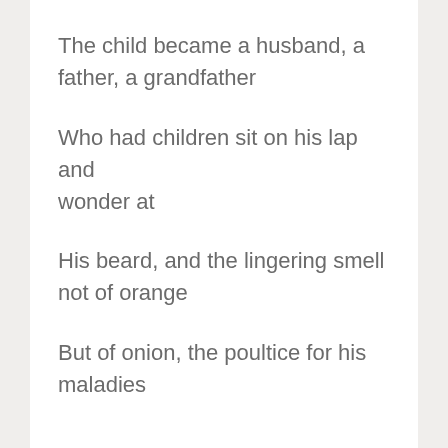The child became a husband, a father, a grandfather
Who had children sit on his lap and wonder at
His beard, and the lingering smell not of orange
But of onion, the poultice for his maladies